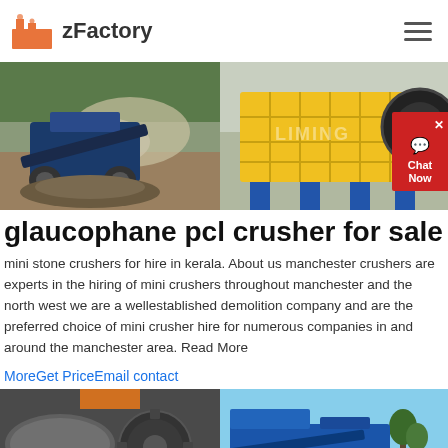zFactory
[Figure (photo): Two industrial mining/crushing machines: left shows a mobile crusher plant with dust clouds, right shows a yellow jaw crusher machine with LIMING branding and blue base]
glaucophane pcl crusher for sale
mini stone crushers for hire in kerala. About us manchester crushers are experts in the hiring of mini crushers throughout manchester and the north west we are a wellestablished demolition company and are the preferred choice of mini crusher hire for numerous companies in and around the manchester area. Read More
MoreGet PriceEmail contact
[Figure (photo): Two industrial equipment photos: left shows a large gear and cylindrical grinding mill, right shows a blue mobile crushing/screening plant outdoors]